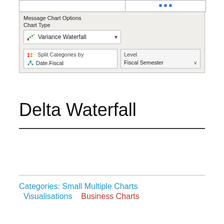[Figure (screenshot): UI panel showing Message Chart Options with Chart Type dropdown set to 'Variance Waterfall', and Split Categories by 'Date.Fiscal' with Level 'Fiscal Semester']
Delta Waterfall
Categories:  Small Multiple Charts  Visualisations  Business Charts